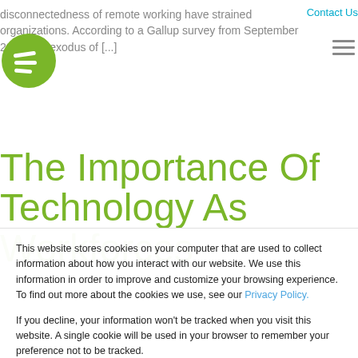disconnectedness of remote working have strained organizations. According to a Gallup survey from September 2021, the exodus of [...]
[Figure (logo): Green circular logo with white stylized E/equals symbol]
Contact Us
The Importance Of Technology As Workforces
This website stores cookies on your computer that are used to collect information about how you interact with our website. We use this information in order to improve and customize your browsing experience. To find out more about the cookies we use, see our Privacy Policy. If you decline, your information won't be tracked when you visit this website. A single cookie will be used in your browser to remember your preference not to be tracked.